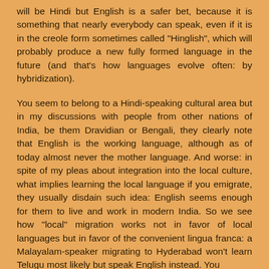will be Hindi but English is a safer bet, because it is something that nearly everybody can speak, even if it is in the creole form sometimes called "Hinglish", which will probably produce a new fully formed language in the future (and that's how languages evolve often: by hybridization).

You seem to belong to a Hindi-speaking cultural area but in my discussions with people from other nations of India, be them Dravidian or Bengali, they clearly note that English is the working language, although as of today almost never the mother language. And worse: in spite of my pleas about integration into the local culture, what implies learning the local language if you emigrate, they usually disdain such idea: English seems enough for them to live and work in modern India. So we see how "local" migration works not in favor of local languages but in favor of the convenient lingua franca: a Malayalam-speaker migrating to Hyderabad won't learn Telugu most likely but speak English instead. You